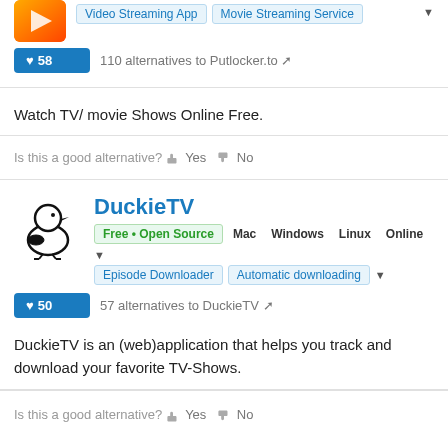[Figure (logo): App icon for Putlocker.to - orange gradient square icon]
Video Streaming App   Movie Streaming Service
♥58   110 alternatives to Putlocker.to
Watch TV/ movie Shows Online Free.
Is this a good alternative? Yes No
[Figure (logo): DuckieTV logo - duck silhouette in black and white]
DuckieTV
Free • Open Source   Mac   Windows   Linux   Online
Episode Downloader   Automatic downloading
♥50   57 alternatives to DuckieTV
DuckieTV is an (web)application that helps you track and download your favorite TV-Shows.
Is this a good alternative? Yes No